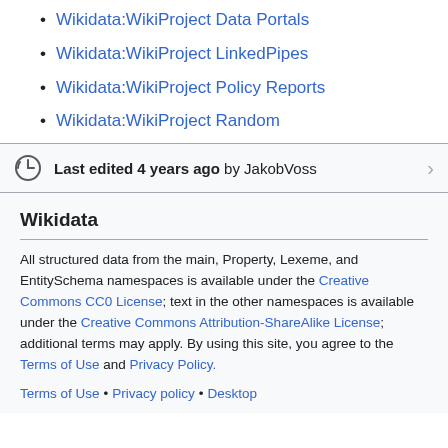Wikidata:WikiProject Data Portals
Wikidata:WikiProject LinkedPipes
Wikidata:WikiProject Policy Reports
Wikidata:WikiProject Random
Last edited 4 years ago by JakobVoss
Wikidata
All structured data from the main, Property, Lexeme, and EntitySchema namespaces is available under the Creative Commons CC0 License; text in the other namespaces is available under the Creative Commons Attribution-ShareAlike License; additional terms may apply. By using this site, you agree to the Terms of Use and Privacy Policy.
Terms of Use • Privacy policy • Desktop